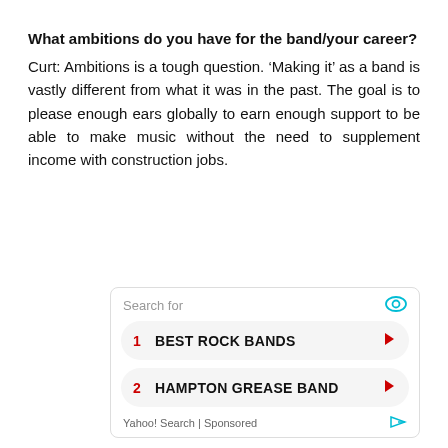What ambitions do you have for the band/your career?
Curt: Ambitions is a tough question. ‘Making it’ as a band is vastly different from what it was in the past. The goal is to please enough ears globally to earn enough support to be able to make music without the need to supplement income with construction jobs.
[Figure (other): Yahoo Search sponsored ad widget showing 'Search for' header with eye icon, two search result items: 1. BEST ROCK BANDS and 2. HAMPTON GREASE BAND, each with a red arrow, and a Yahoo! Search | Sponsored footer.]